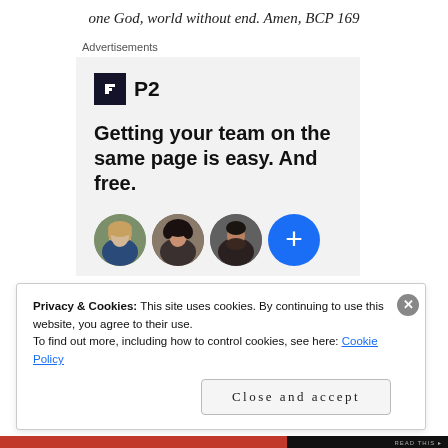one God, world without end. Amen, BCP 169
Advertisements
[Figure (screenshot): P2 advertisement banner. Shows P2 logo (dark square with white H icon and 'P2' text), headline text 'Getting your team on the same page is easy. And free.' followed by three circular portrait photos and a blue circle with a plus sign.]
Privacy & Cookies: This site uses cookies. By continuing to use this website, you agree to their use.
To find out more, including how to control cookies, see here: Cookie Policy
Close and accept